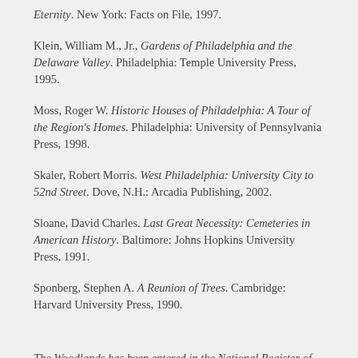Eternity. New York: Facts on File, 1997.
Klein, William M., Jr., Gardens of Philadelphia and the Delaware Valley. Philadelphia: Temple University Press, 1995.
Moss, Roger W. Historic Houses of Philadelphia: A Tour of the Region's Homes. Philadelphia: University of Pennsylvania Press, 1998.
Skaler, Robert Morris. West Philadelphia: University City to 52nd Street. Dove, N.H.: Arcadia Publishing, 2002.
Sloane, David Charles. Last Great Necessity: Cemeteries in American History. Baltimore: Johns Hopkins University Press, 1991.
Sponberg, Stephen A. A Reunion of Trees. Cambridge: Harvard University Press, 1990.
The Woodlands has been entered in the National Register of Historic Places, named n National Historic Landmark, and recognized with a state historical marker erected by the